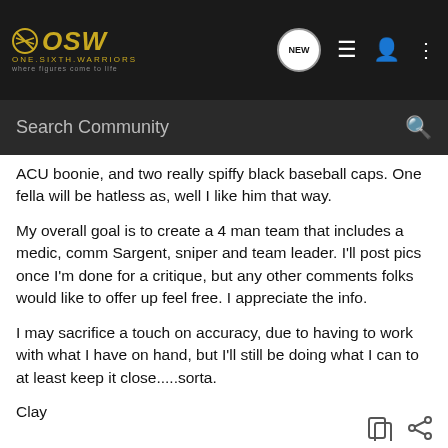OSW ONE.SIXTH.WARRIORS — Search Community
ACU boonie, and two really spiffy black baseball caps. One fella will be hatless as, well I like him that way.
My overall goal is to create a 4 man team that includes a medic, comm Sargent, sniper and team leader. I'll post pics once I'm done for a critique, but any other comments folks would like to offer up feel free. I appreciate the info.
I may sacrifice a touch on accuracy, due to having to work with what I have on hand, but I'll still be doing what I can to at least keep it close.....sorta.
Clay